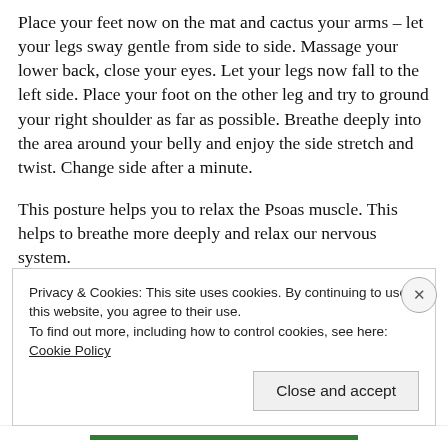Place your feet now on the mat and cactus your arms – let your legs sway gentle from side to side. Massage your lower back, close your eyes. Let your legs now fall to the left side. Place your foot on the other leg and try to ground your right shoulder as far as possible. Breathe deeply into the area around your belly and enjoy the side stretch and twist. Change side after a minute.
This posture helps you to relax the Psoas muscle. This helps to breathe more deeply and relax our nervous system.
Privacy & Cookies: This site uses cookies. By continuing to use this website, you agree to their use. To find out more, including how to control cookies, see here: Cookie Policy